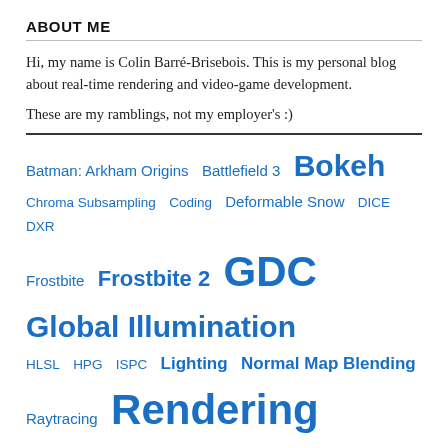ABOUT ME
Hi, my name is Colin Barré-Brisebois. This is my personal blog about real-time rendering and video-game development.
These are my ramblings, not my employer's :)
[Figure (infographic): Tag cloud with blue-colored tags of varying sizes representing blog topics: Batman: Arkham Origins, Battlefield 3, Bokeh, Chroma Subsampling, Coding, Deformable Snow, DICE, DXR, Frostbite, Frostbite 2, GDC, Global Illumination, HLSL, HPG, ISPC, Lighting, Normal Map Blending, Raytracing, Rendering, Reoriented Normal Mapping, SEED, SIGGRAPH, Subsurface Scattering, Tools, Translucency, Uncategorized]
BLOG ROLL